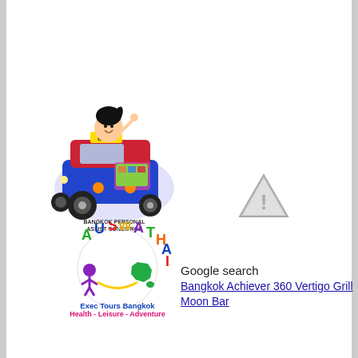[Figure (logo): Bangkok Personal Assist Concierge logo: cartoon illustration of a Thai woman driving a colorful tuk-tuk with text 'BANGKOK PERSONAL ASSIST CONCIERGE']
[Figure (logo): AusWaThai Exec Tours Bangkok logo: circular logo with text 'AUSWATHAI Exec Tours Bangkok' and 'Health - Leisure - Adventure' tagline in pink/magenta]
[Figure (other): Warning triangle icon (grey/silver caution symbol)]
Google search
Bangkok Achiever 360 Vertigo Grill Moon Bar